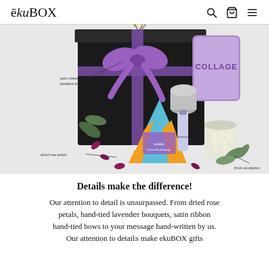ēkuBOX — navigation with search, cart, and menu icons
[Figure (photo): Gift box product photo: a black box with a purple satin ribbon and hand-tied bow, containing items such as a COLLAGEN packet, a decorative pyramid tea box, a silver candle, a lavender roller, and a jar of white chocolates, surrounded by dried rose petals and fresh eucalyptus. Labels annotate: 'satin ribbon & handtied bow', 'dried rose petals', 'fresh eucalyptus'.]
Details make the difference!
Our attention to detail is unsurpassed. From dried rose petals, hand-tied lavender bouquets, satin ribbon hand-tied bows to your message hand-written by us. Our attention to details make ekuBOX gifts